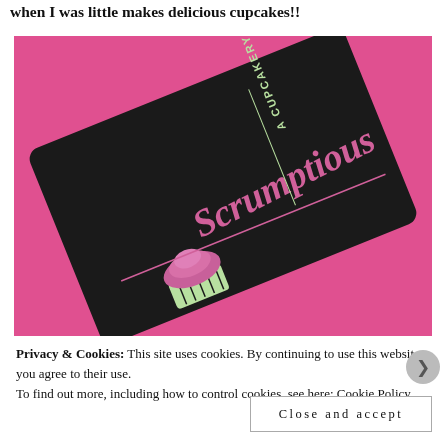when I was little makes delicious cupcakes!!
[Figure (photo): Business card for 'Scrumptious A Cupcakery' on a pink background. The card is dark/black with pink and light green lettering showing a stylized 'Scrumptious' in script font and 'A CUPCAKERY' text with a cupcake logo.]
Privacy & Cookies: This site uses cookies. By continuing to use this website, you agree to their use.
To find out more, including how to control cookies, see here: Cookie Policy
Close and accept